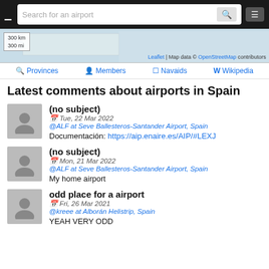Search for an airport
[Figure (map): Map strip showing part of Spain with scale bar (300 km, 300 mi) and OpenStreetMap attribution]
Provinces | Members | Navaids | Wikipedia
Latest comments about airports in Spain
(no subject)
Tue, 22 Mar 2022
@ALF at Seve Ballesteros-Santander Airport, Spain
Documentación: https://aip.enaire.es/AIP/#LEXJ
(no subject)
Mon, 21 Mar 2022
@ALF at Seve Ballesteros-Santander Airport, Spain
My home airport
odd place for a airport
Fri, 26 Mar 2021
@kreee at Alborán Helistrip, Spain
YEAH VERY ODD